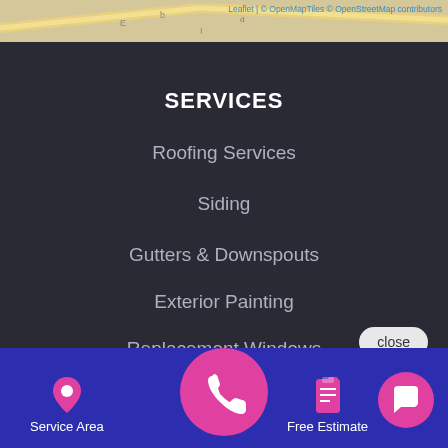[Figure (map): Map strip at top of page showing street map with attribution]
Leaflet | © OpenMapTiles © OpenStreetMap contributors
SERVICES
Roofing Services
Siding
Gutters & Downspouts
Exterior Painting
Replacement Windows
[Figure (screenshot): Close button and chat popup with avatar photo and text: Hi there, have a question? Text us here.]
Hi there, have a question? Text us here.
Roofas... Referrals
[Figure (infographic): Bottom navigation bar with Service Area, phone call button, Free Estimate, and chat button]